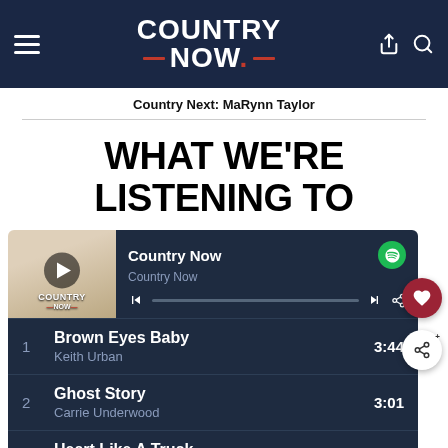Country Now — site header with navigation
Country Next: MaRynn Taylor
WHAT WE'RE LISTENING TO
[Figure (screenshot): Spotify-style music player widget showing Country Now playlist with play button, progress bar, and Country Now logo thumbnail]
1  Brown Eyes Baby  Keith Urban  3:44
2  Ghost Story  Carrie Underwood  3:01
3  Heart Like A Truck  Lainey Wilson  3:19